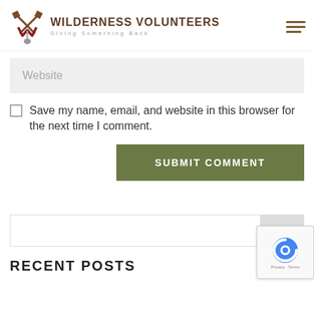[Figure (logo): Wilderness Volunteers logo with crossed tools icon, title 'WILDERNESS VOLUNTEERS' and subtitle 'Giving Something Back']
Website
Save my name, email, and website in this browser for the next time I comment.
SUBMIT COMMENT
Search
RECENT POSTS